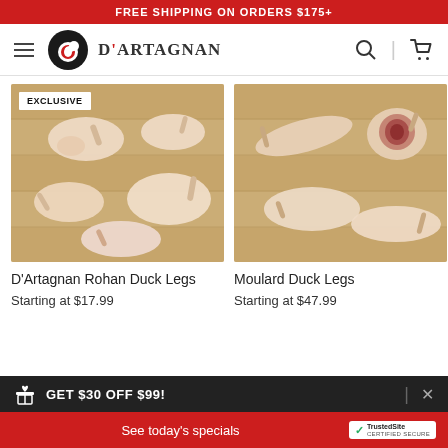FREE SHIPPING ON ORDERS $175+
[Figure (logo): D'Artagnan logo with circular duck emblem and brand name]
[Figure (photo): D'Artagnan Rohan Duck Legs arranged on a wooden cutting board with EXCLUSIVE badge]
[Figure (photo): Moulard Duck Legs arranged on a wooden cutting board]
D'Artagnan Rohan Duck Legs
Starting at $17.99
Moulard Duck Legs
Starting at $47.99
GET $30 OFF $99!
See today's specials